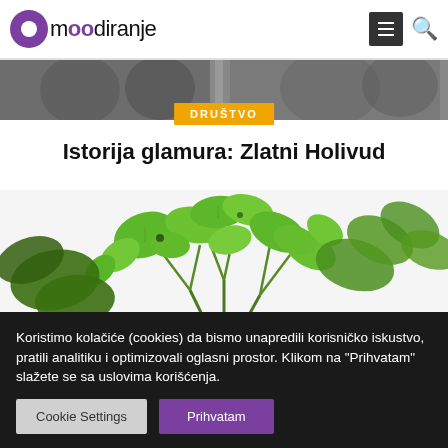moodiranje
[Figure (photo): Black and white banner strip showing people in the background]
DRUŠTVO
Istorija glamura: Zlatni Holivud
[Figure (photo): Close-up photo of fresh green herbs (parsley or cilantro) on white background]
Koristimo kolačiće (cookies) da bismo unapredili korisničko iskustvo, pratili analitiku i optimizovali oglasni prostor. Klikom na "Prihvatam" slažete se sa uslovima korišćenja.
Cookie Settings  Prihvatam